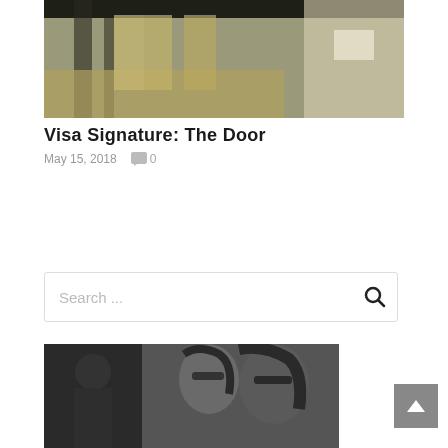[Figure (photo): Top partial photo of people in an office or lobby setting, dark overhead structure visible, warm tones]
Visa Signature: The Door
May 15, 2018   💬 0
[Figure (other): Search box with placeholder text 'Search ...' and magnifying glass icon]
[Figure (photo): Black and white photo of two women wearing sunglasses, smiling, outdoor setting]
[Figure (other): Back to top button, grey square with white chevron/arrow pointing up]